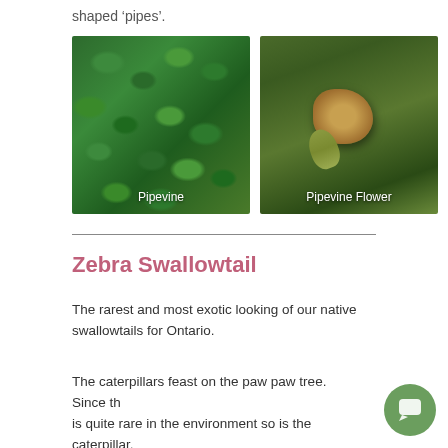shaped ‘pipes’.
[Figure (photo): Photo of pipevine plant covering a wall with dense green heart-shaped leaves, with caption 'Pipevine']
[Figure (photo): Close-up photo of a pipevine flower (Dutchman's pipe), a tubular yellowish-brown flower among green vines, with caption 'Pipevine Flower']
Zebra Swallowtail
The rarest and most exotic looking of our native swallowtails for Ontario.
The caterpillars feast on the paw paw tree.  Since the is quite rare in the environment so is the caterpillar.